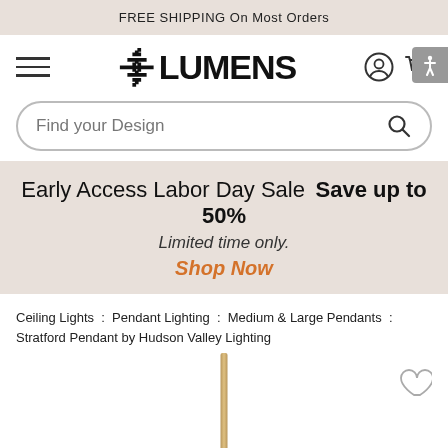FREE SHIPPING On Most Orders
[Figure (logo): Lumens logo with hamburger menu, user icon, and cart icon]
Find your Design
Early Access Labor Day Sale  Save up to 50%  Limited time only.  Shop Now
Ceiling Lights : Pendant Lighting : Medium & Large Pendants : Stratford Pendant by Hudson Valley Lighting
[Figure (photo): Partial product image showing a gold/brass pendant light stem against white background]